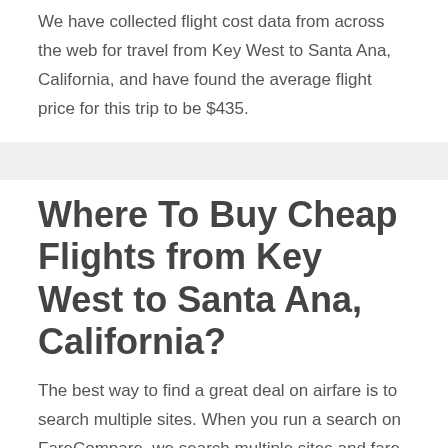We have collected flight cost data from across the web for travel from Key West to Santa Ana, California, and have found the average flight price for this trip to be $435.
Where To Buy Cheap Flights from Key West to Santa Ana, California?
The best way to find a great deal on airfare is to search multiple sites. When you run a search on FareCompare, we search multiple sites and fare